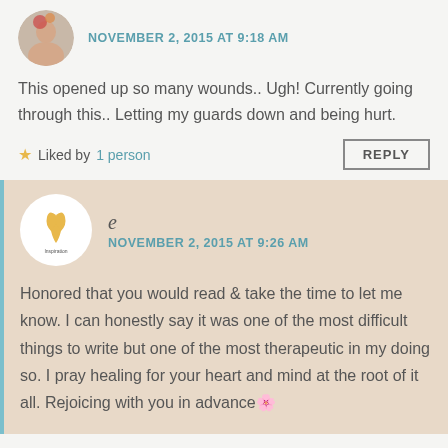[Figure (photo): Circular avatar photo of a person, partially visible at top]
NOVEMBER 2, 2015 AT 9:18 AM
This opened up so many wounds.. Ugh! Currently going through this.. Letting my guards down and being hurt.
Liked by 1 person
REPLY
[Figure (logo): Circular white avatar with yellow ribbon logo]
e
NOVEMBER 2, 2015 AT 9:26 AM
Honored that you would read & take the time to let me know. I can honestly say it was one of the most difficult things to write but one of the most therapeutic in my doing so. I pray healing for your heart and mind at the root of it all. Rejoicing with you in advance🌸